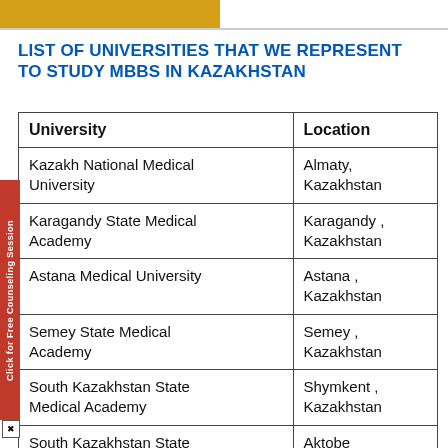LIST OF UNIVERSITIES THAT WE REPRESENT TO STUDY MBBS IN KAZAKHSTAN
| University | Location |
| --- | --- |
| Kazakh National Medical University | Almaty, Kazakhstan |
| Karagandy State Medical Academy | Karagandy , Kazakhstan |
| Astana Medical University | Astana , Kazakhstan |
| Semey State Medical Academy | Semey , Kazakhstan |
| South Kazakhstan State Medical Academy | Shymkent , Kazakhstan |
| South Kazakhstan State | Aktobe |